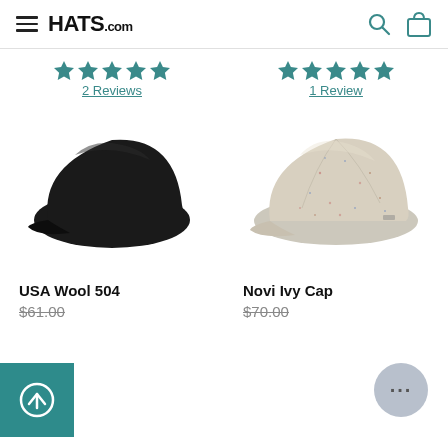HATS.com
[Figure (photo): Black flat cap (USA Wool 504) on white background]
2 Reviews
[Figure (photo): Beige/oatmeal tweed flat cap (Novi Ivy Cap) on white background]
1 Review
USA Wool 504
$61.00
Novi Ivy Cap
$70.00